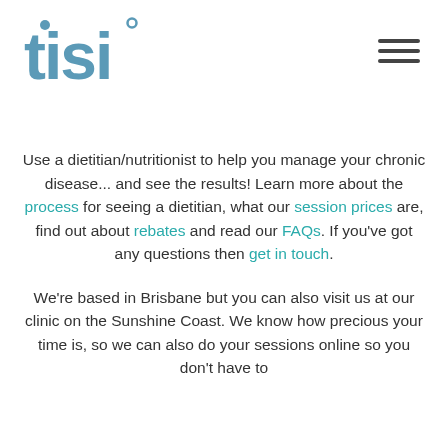[Figure (logo): tisi logo in steel blue bold lowercase text]
[Figure (other): Hamburger menu icon (three horizontal lines)]
Use a dietitian/nutritionist to help you manage your chronic disease... and see the results! Learn more about the process for seeing a dietitian, what our session prices are, find out about rebates and read our FAQs. If you've got any questions then get in touch.
We're based in Brisbane but you can also visit us at our clinic on the Sunshine Coast. We know how precious your time is, so we can also do your sessions online so you don't have to